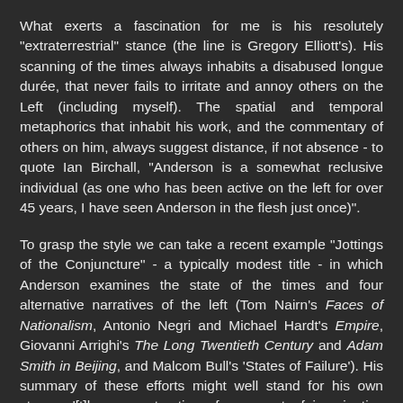What exerts a fascination for me is his resolutely "extraterrestrial" stance (the line is Gregory Elliott's). His scanning of the times always inhabits a disabused longue durée, that never fails to irritate and annoy others on the Left (including myself). The spatial and temporal metaphorics that inhabit his work, and the commentary of others on him, always suggest distance, if not absence - to quote Ian Birchall, "Anderson is a somewhat reclusive individual (as one who has been active on the left for over 45 years, I have seen Anderson in the flesh just once)".
To grasp the style we can take a recent example "Jottings of the Conjuncture" - a typically modest title - in which Anderson examines the state of the times and four alternative narratives of the left (Tom Nairn's Faces of Nationalism, Antonio Negri and Michael Hardt's Empire, Giovanni Arrighi's The Long Twentieth Century and Adam Smith in Beijing, and Malcom Bull's 'States of Failure'). His summary of these efforts might well stand for his own stance: '[t]hese constructions form a set of imaginative enterprises, which seek to look beyond the epiphenomenal headlines of the period, at longer-term logics of the world